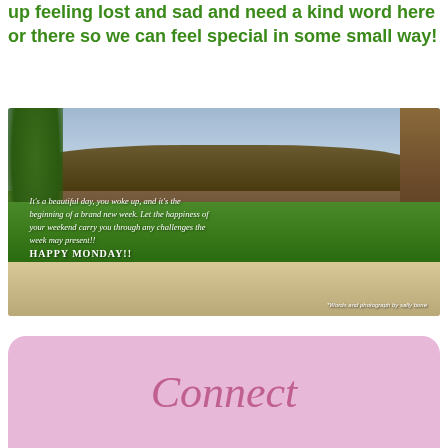up feeling lost and sad and need a kind word here or there so we can feel special in some small way!
[Figure (photo): Outdoor tropical scene with a thatched-roof hut surrounded by lush green shrubs and palm trees, sandy ground in the foreground, with overlaid motivational text reading: It's a beautiful day, you woke up, and it's the beginning of a brand new week. Let the happiness of your weekend carry you through any challenges the week may present!! HAPPY MONDAY!! Words and photograph by sally bene]
Connect